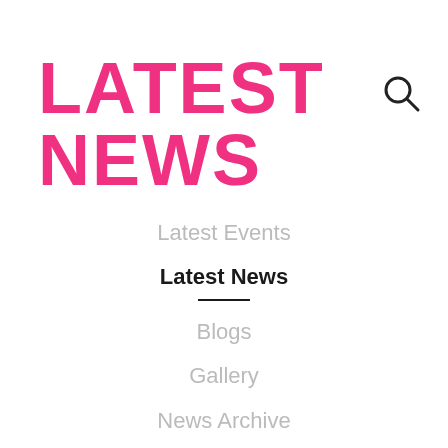LATEST NEWS
[Figure (other): Search magnifying glass icon]
Latest Events
Latest News
Blogs
Gallery
News Archive
Independence In The Spotlight